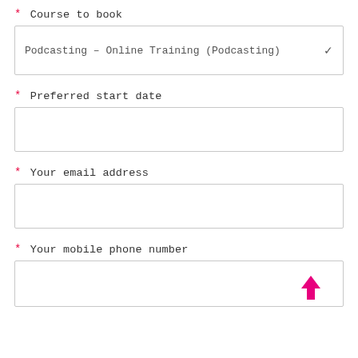* Course to book
Podcasting – Online Training (Podcasting)
* Preferred start date
* Your email address
* Your mobile phone number